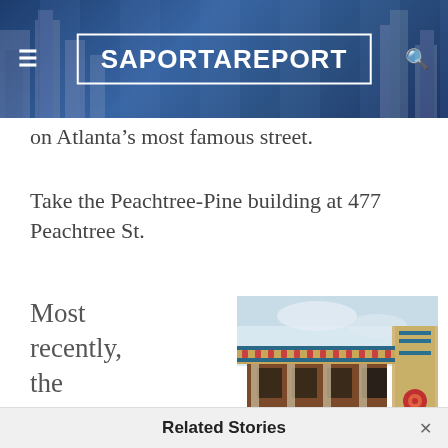[Figure (screenshot): SaportaReport website header with dark blue aerial city background, hamburger menu icon on left, search icon on right, and SaportaReport logo in white text inside a white rectangle border in the center]
on Atlanta’s most famous street.
Take the Peachtree-Pine building at 477 Peachtree St.
Most recently, the building served as the home
[Figure (photo): Close-up upward-angled photo of an ornate historic building facade with colorful decorative cornice featuring teal, gold, and red geometric and floral patterns, classical columns, and windows]
Related Stories